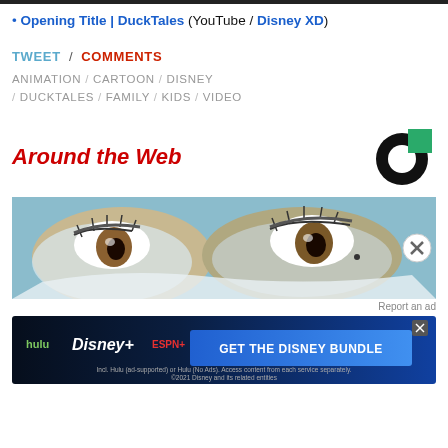• Opening Title | DuckTales (YouTube / Disney XD)
TWEET / COMMENTS
ANIMATION / CARTOON / DISNEY / DUCKTALES / FAMILY / KIDS / VIDEO
Around the Web
[Figure (photo): Close-up photo of a person's eyes with face paint or makeup, teal/blue tones]
Report an ad
[Figure (infographic): Disney Bundle advertisement banner featuring Hulu, Disney+ and ESPN+ logos with GET THE DISNEY BUNDLE button]